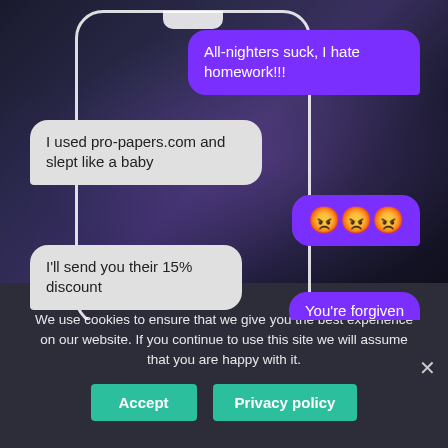[Figure (screenshot): A smartphone mockup showing a text message conversation on a dark starry background. Messages: 'All-nighters suck, I hate homework!!!' (purple bubble, right), 'I used pro-papers.com and slept like a baby' (gray bubble, left), three angry face emojis (purple bubble, right), 'I'll send you their 15% discount' (gray bubble, left), 'You're forgiven' (purple bubble, right, partially visible).]
We use cookies to ensure that we give you the best experience on our website. If you continue to use this site we will assume that you are happy with it.
Accept
Privacy policy